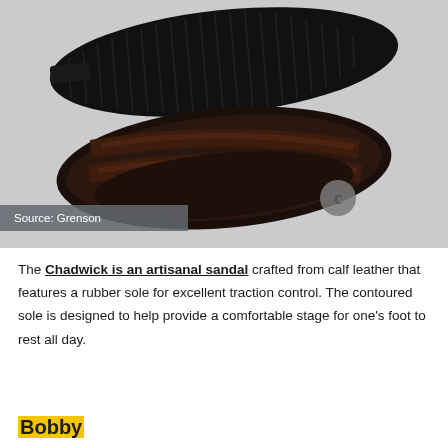[Figure (photo): Overhead view of two dark brown leather Grenson Chadwick sandals on a light grey background — one showing the ridged black rubber sole (bottom view) and one showing the two-strap leather upper (top view). A grey Grenson logo circle is visible in the lower right of the image.]
Source: Grenson
The Chadwick is an artisanal sandal crafted from calf leather that features a rubber sole for excellent traction control. The contoured sole is designed to help provide a comfortable stage for one's foot to rest all day.
Bobby